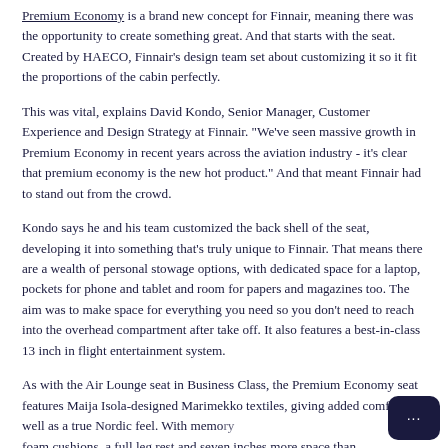Premium Economy is a brand new concept for Finnair, meaning there was the opportunity to create something great. And that starts with the seat. Created by HAECO, Finnair's design team set about customizing it so it fit the proportions of the cabin perfectly.
This was vital, explains David Kondo, Senior Manager, Customer Experience and Design Strategy at Finnair. "We've seen massive growth in Premium Economy in recent years across the aviation industry - it's clear that premium economy is the new hot product." And that meant Finnair had to stand out from the crowd.
Kondo says he and his team customized the back shell of the seat, developing it into something that's truly unique to Finnair. That means there are a wealth of personal stowage options, with dedicated space for a laptop, pockets for phone and tablet and room for papers and magazines too. The aim was to make space for everything you need so you don't need to reach into the overhead compartment after take off. It also features a best-in-class 13 inch in flight entertainment system.
As with the Air Lounge seat in Business Class, the Premium Economy seat features Maija Isola-designed Marimekko textiles, giving added comfort as well as a true Nordic feel. With memory foam cushions, a full leg rest and seven inches more space than...